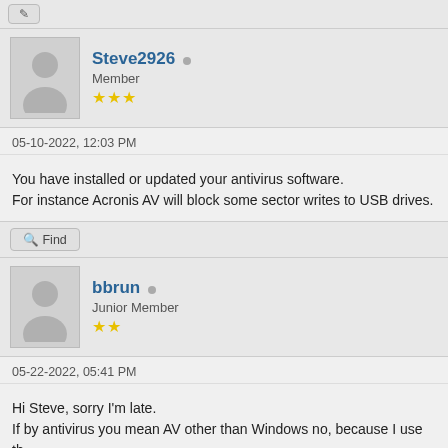Steve2926 • Member ★★★
05-10-2022, 12:03 PM
You have installed or updated your antivirus software.
For instance Acronis AV will block some sector writes to USB drives.
bbrun • Junior Member ★★
05-22-2022, 05:41 PM
Hi Steve, sorry I'm late.
If by antivirus you mean AV other than Windows no, because I use th
If it is meant in a general sense the Windows AV does its updates reg